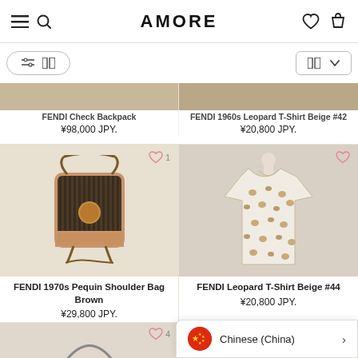AMORE
FENDI Check Backpack ¥98,000 JPY.
FENDI 1960s Leopard T-Shirt Beige #42 ¥20,800 JPY.
[Figure (photo): FENDI 1970s Pequin Shoulder Bag Brown - dark striped canvas crossbody bag with gold circular logo and rope strap]
FENDI 1970s Pequin Shoulder Bag Brown
¥29,800 JPY.
[Figure (photo): FENDI Leopard T-Shirt Beige #44 - beige short-sleeve t-shirt with all-over leopard print pattern on a mannequin]
FENDI Leopard T-Shirt Beige #44
¥20,800 JPY.
Chinese (China)